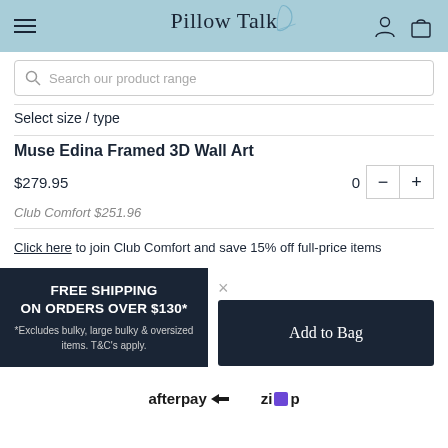Pillow Talk
Search our product range
Select size / type
Muse Edina Framed 3D Wall Art
$279.95
Club Comfort $251.96
Click here to join Club Comfort and save 15% off full-price items
FREE SHIPPING ON ORDERS OVER $130*
*Excludes bulky, large bulky & oversized items. T&C's apply.
Add to Bag
afterpay
zip